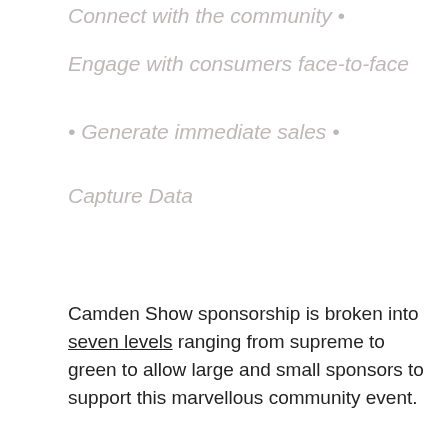Connect with the community •
Engage with consumers face-to-face
• Generate immediate sales •
Capture Data
Camden Show sponsorship is broken into seven levels ranging from supreme to green to allow large and small sponsors to support this marvellous community event.
[Figure (photo): Close-up of a large yellow pumpkin/squash at the Camden District Produce show exhibit, with a red Camden Show banner visible in the background.]